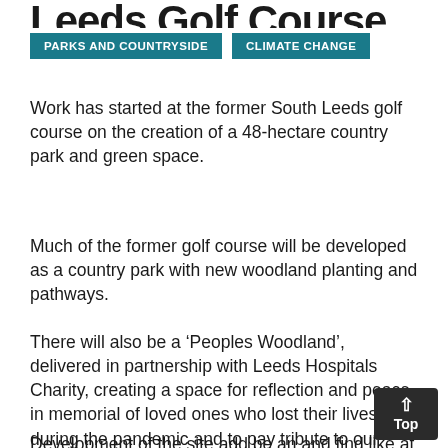Leeds Golf Course
PARKS AND COUNTRYSIDE
CLIMATE CHANGE
Work has started at the former South Leeds golf course on the creation of a 48-hectare country park and green space.
Much of the former golf course will be developed as a country park with new woodland planting and pathways.
There will also be a ‘Peoples Woodland’, delivered in partnership with Leeds Hospitals Charity, creating a space for reflection and peace in memorial of loved ones who lost their lives during the pandemic and to pay tribute to our hard-working frontline key workers.
Development of the site add be an and find like at...